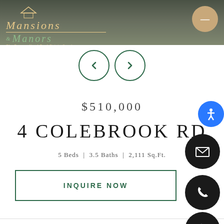[Figure (screenshot): Mansions and Manors real estate agency header with logo and navigation]
[Figure (other): Previous and next navigation arrow buttons in teal circles]
$510,000
4 COLEBROOK RD
5 Beds | 3.5 Baths | 2,111 Sq.Ft.
INQUIRE NOW